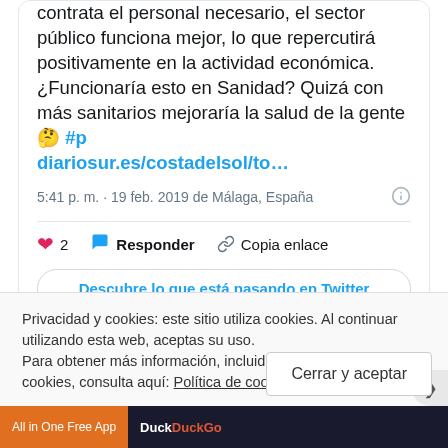contrata el personal necesario, el sector público funciona mejor, lo que repercutirá positivamente en la actividad económica. ¿Funcionaría esto en Sanidad? Quizá con más sanitarios mejoraría la salud de la gente 🤔 #p diariosur.es/costadelsol/to…
5:41 p. m. · 19 feb. 2019 de Málaga, España
2  Responder  Copia enlace
Descubre lo que está pasando en Twitter
Privacidad y cookies: este sitio utiliza cookies. Al continuar utilizando esta web, aceptas su uso.
Para obtener más información, incluido cómo controlar las cookies, consulta aquí: Política de cookies
Cerrar y aceptar